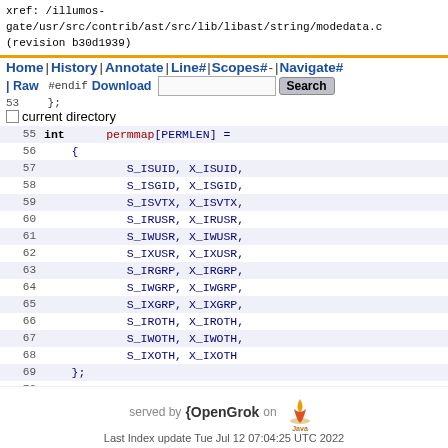xref: /illumos-gate/usr/src/contrib/ast/src/lib/libast/string/modedata.c (revision b30d1939)
Home | History | Annotate | Line# | Scopes# - | Navigate# | Raw | Download   Search   current directory
55  int       permmap[PERMLEN] =
56  {
57              S_ISUID, X_ISUID,
58              S_ISGID, X_ISGID,
59              S_ISVTX, X_ISVTX,
60              S_IRUSR, X_IRUSR,
61              S_IWUSR, X_IWUSR,
62              S_IXUSR, X_IXUSR,
63              S_IRGRP, X_IRGRP,
64              S_IWGRP, X_IWGRP,
65              S_IXGRP, X_IXGRP,
66              S_IROTH, X_IROTH,
67              S_IWOTH, X_IWOTH,
68              S_IXOTH, X_IXOTH
69  };
70
served by {OpenGrok on Java
Last Index update Tue Jul 12 07:04:25 UTC 2022